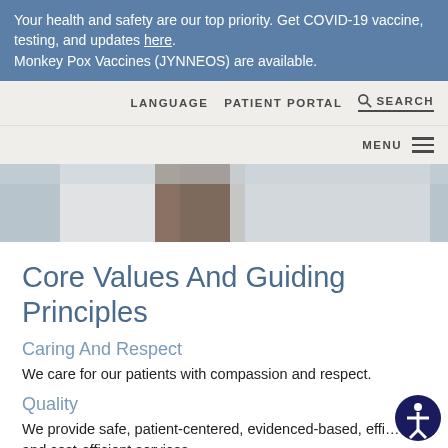Your health and safety are our top priority. Get COVID-19 vaccine, testing, and updates here.
Monkey Pox Vaccines (JYNNEOS) are available.
LANGUAGE   PATIENT PORTAL   🔍 SEARCH
MENU ☰
[Figure (photo): A person receiving a vaccine injection in the arm from a healthcare professional in a white coat.]
Core Values And Guiding Principles
Caring And Respect
We care for our patients with compassion and respect.
Quality
We provide safe, patient-centered, evidenced-based, effi… and cost-efficient services.
Excellence